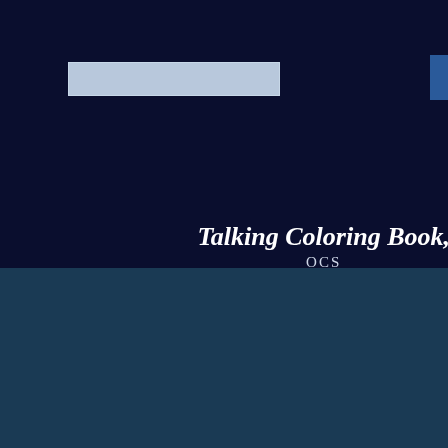[Figure (screenshot): Search bar input field with light blue/grey background]
[Figure (screenshot): Stats button with dark blue background and white bold text reading 'Stats']
Talking Coloring Book,
OCS